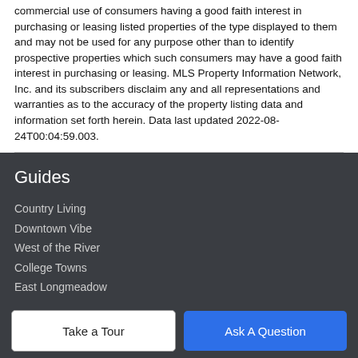commercial use of consumers having a good faith interest in purchasing or leasing listed properties of the type displayed to them and may not be used for any purpose other than to identify prospective properties which such consumers may have a good faith interest in purchasing or leasing. MLS Property Information Network, Inc. and its subscribers disclaim any and all representations and warranties as to the accuracy of the property listing data and information set forth herein. Data last updated 2022-08-24T00:04:59.003.
Guides
Country Living
Downtown Vibe
West of the River
College Towns
East Longmeadow
More Guides >
Take a Tour
Ask A Question